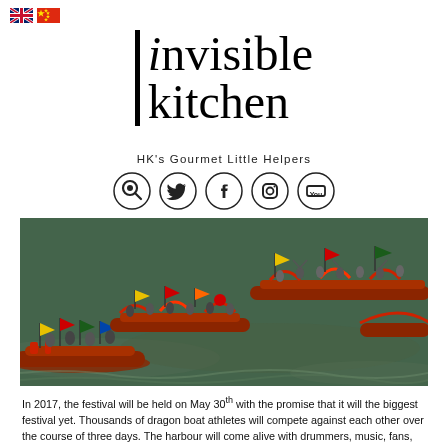[Figure (logo): Invisible Kitchen logo with vertical bar and text, UK and China flag icons top-left]
HK's Gourmet Little Helpers
[Figure (infographic): Social media icons row: search/magnifier, Twitter bird, Facebook f, Instagram camera, YouTube]
[Figure (photo): Aerial view of dragon boats on water, decorated with colorful flags and red boats with paddlers]
In 2017, the festival will be held on May 30th with the promise that it will the biggest festival yet. Thousands of dragon boat athletes will compete against each other over the course of three days. The harbour will come alive with drummers, music, fans, food and people enjoying regular wine.